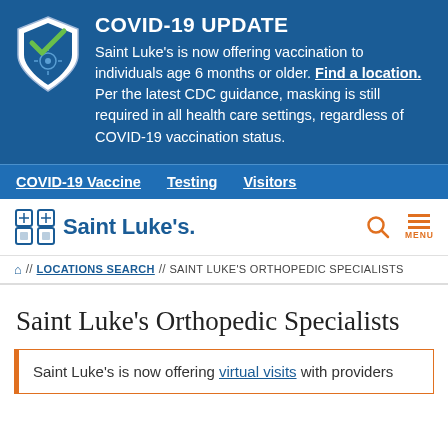[Figure (infographic): COVID-19 UPDATE banner with shield checkmark icon on dark blue background. Text: Saint Luke's is now offering vaccination to individuals age 6 months or older. Find a location. Per the latest CDC guidance, masking is still required in all health care settings, regardless of COVID-19 vaccination status.]
COVID-19 Vaccine  Testing  Visitors
[Figure (logo): Saint Luke's logo with cross/medical symbol icon in dark blue]
Home // LOCATIONS SEARCH // SAINT LUKE'S ORTHOPEDIC SPECIALISTS
Saint Luke's Orthopedic Specialists
Saint Luke's is now offering virtual visits with providers